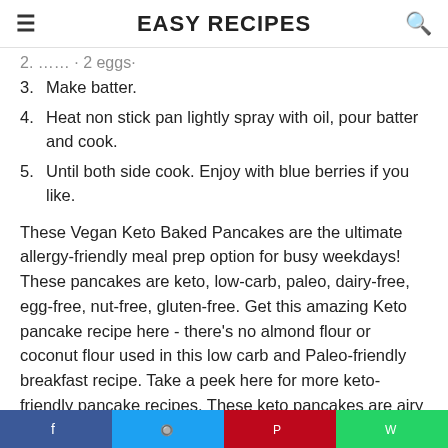EASY RECIPES
2. [truncated] · 2 eggs·
3. Make batter.
4. Heat non stick pan lightly spray with oil, pour batter and cook.
5. Until both side cook. Enjoy with blue berries if you like.
These Vegan Keto Baked Pancakes are the ultimate allergy-friendly meal prep option for busy weekdays! These pancakes are keto, low-carb, paleo, dairy-free, egg-free, nut-free, gluten-free. Get this amazing Keto pancake recipe here - there's no almond flour or coconut flour used in this low carb and Paleo-friendly breakfast recipe. Take a peek here for more keto-friendly pancake recipes. These keto pancakes are airy and fluffy.
Berbagi :
[Figure (other): Social share buttons: Facebook, Twitter, Pinterest, WhatsApp]